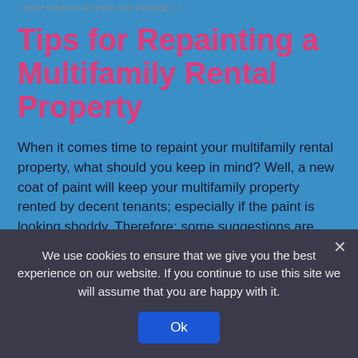...have solutions to solve your painting [...]
Tips for Repainting a Multifamily Rental Property
When it comes time to repaint your multifamily rental property, what should you keep in mind? Well, a new coat of paint will keep your multifamily property rented by decent tenants; especially if the paint is looking shoddy. Therefore; some suggestions are listed below to make the job a little easier. When you pick a [...]
Safety and Comfort in Your Apartment Community...
We use cookies to ensure that we give you the best experience on our website. If you continue to use this site we will assume that you are happy with it.